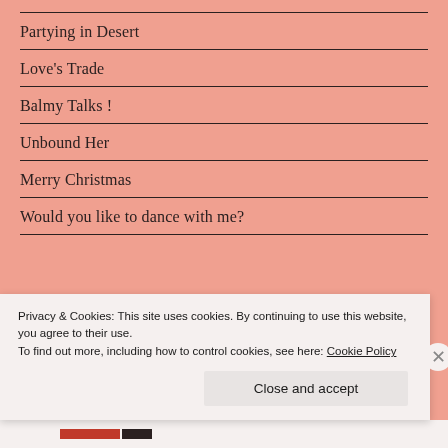Partying in Desert
Love's Trade
Balmy Talks !
Unbound Her
Merry Christmas
Would you like to dance with me?
Privacy & Cookies: This site uses cookies. By continuing to use this website, you agree to their use. To find out more, including how to control cookies, see here: Cookie Policy
Close and accept